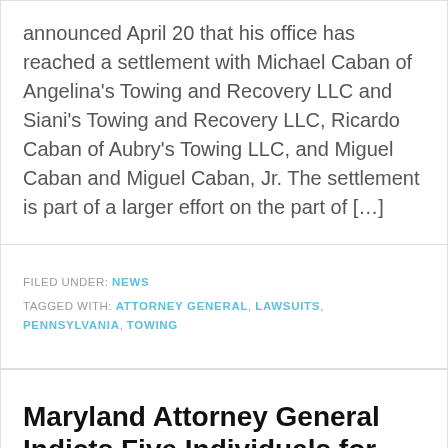announced April 20 that his office has reached a settlement with Michael Caban of Angelina's Towing and Recovery LLC and Siani's Towing and Recovery LLC, Ricardo Caban of Aubry's Towing LLC, and Miguel Caban and Miguel Caban, Jr. The settlement is part of a larger effort on the part of […]
FILED UNDER: NEWS
TAGGED WITH: ATTORNEY GENERAL, LAWSUITS, PENNSYLVANIA, TOWING
Maryland Attorney General Indicts Five Individuals for Distributing Drugs through